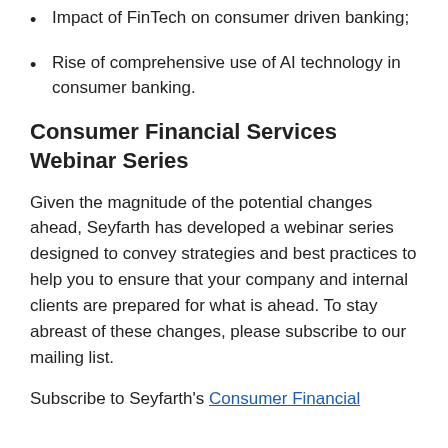Impact of FinTech on consumer driven banking;
Rise of comprehensive use of AI technology in consumer banking.
Consumer Financial Services Webinar Series
Given the magnitude of the potential changes ahead, Seyfarth has developed a webinar series designed to convey strategies and best practices to help you to ensure that your company and internal clients are prepared for what is ahead. To stay abreast of these changes, please subscribe to our mailing list.
Subscribe to Seyfarth's Consumer Financial